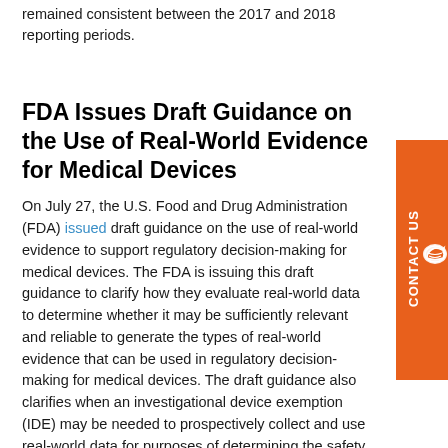remained consistent between the 2017 and 2018 reporting periods.
FDA Issues Draft Guidance on the Use of Real-World Evidence for Medical Devices
On July 27, the U.S. Food and Drug Administration (FDA) issued draft guidance on the use of real-world evidence to support regulatory decision-making for medical devices. The FDA is issuing this draft guidance to clarify how they evaluate real-world data to determine whether it may be sufficiently relevant and reliable to generate the types of real-world evidence that can be used in regulatory decision-making for medical devices. The draft guidance also clarifies when an investigational device exemption (IDE) may be needed to prospectively collect and use real-world data for purposes of determining the safety and effectiveness of a device.